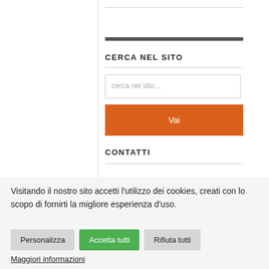CERCA NEL SITO
cerca nel sito...
Vai
CONTATTI
Visitando il nostro sito accetti l'utilizzo dei cookies, creati con lo scopo di fornirti la migliore esperienza d'uso.
Personalizza
Accetta tutti
Rifiuta tutti
Maggiori informazioni